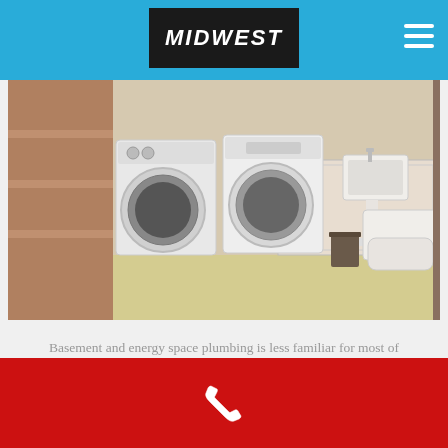MIDWEST
[Figure (photo): Basement utility room with washer and dryer side by side, a pedestal sink, and a toilet in the background. Wooden shelving visible. Interior room with light-colored walls and yellow-green floor.]
Basement and energy space plumbing is less familiar for most of individuals and it can be hard to recognize precisely what to do when things start dripping or flooding, or some other problem takes place in those areas. There are a number of common plumbing-related issues you may find in your basement or your utilityroom - if you're unforeseeable the best techniques to repair the issue we'll send a plumbing professional your instructions.
(phone icon)